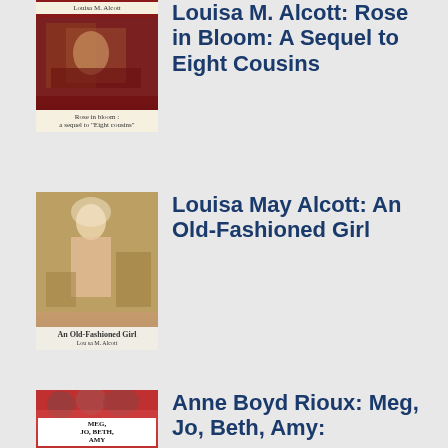[Figure (illustration): Book cover of 'Rose in Bloom: A Sequel to Eight Cousins' by Louisa M. Alcott, showing an interior scene with figures, dark red background]
Louisa M. Alcott: Rose in Bloom: A Sequel to Eight Cousins
[Figure (illustration): Book cover of 'An Old-Fashioned Girl' by Louisa M. Alcott, showing a woman in period dress]
Louisa May Alcott: An Old-Fashioned Girl
[Figure (illustration): Book cover of 'Meg, Jo, Beth, Amy' by Anne Boyd Rioux, with illustrated figures of girls in red and period clothing]
Anne Boyd Rioux: Meg, Jo, Beth, Amy: